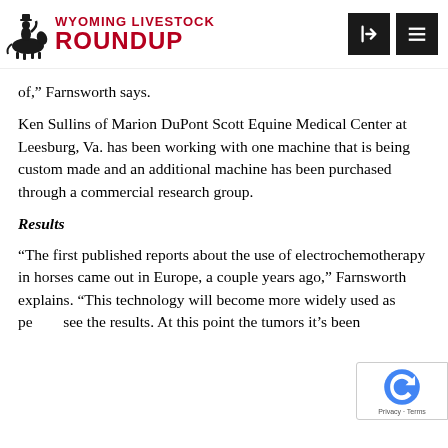Wyoming Livestock Roundup
of," Farnsworth says.
Ken Sullins of Marion DuPont Scott Equine Medical Center at Leesburg, Va. has been working with one machine that is being custom made and an additional machine has been purchased through a commercial research group.
Results
“The first published reports about the use of electrochemotherapy in horses came out in Europe, a couple years ago,” Farnsworth explains. “This technology will become more widely used as people see the results. At this point the tumors it’s been used for…